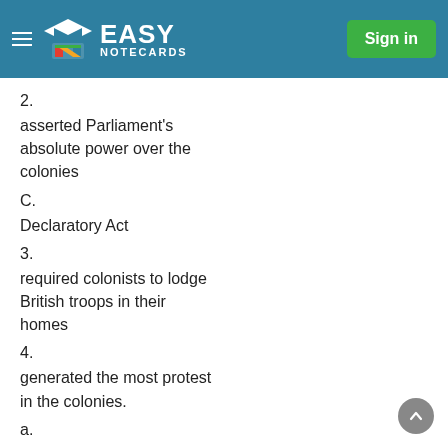Easy Notecards — Sign in
2.
asserted Parliament's absolute power over the colonies
C.
Declaratory Act
3.
required colonists to lodge British troops in their homes
4.
generated the most protest in the colonies.
a.